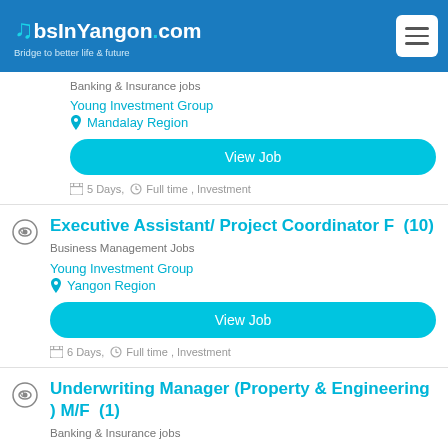JobsInYangon.com – Bridge to better life & future
Banking & Insurance jobs
Young Investment Group
Mandalay Region
View Job
5 Days, Full time , Investment
Executive Assistant/ Project Coordinator F (10)
Business Management Jobs
Young Investment Group
Yangon Region
View Job
6 Days, Full time , Investment
Underwriting Manager (Property & Engineering ) M/F (1)
Banking & Insurance jobs